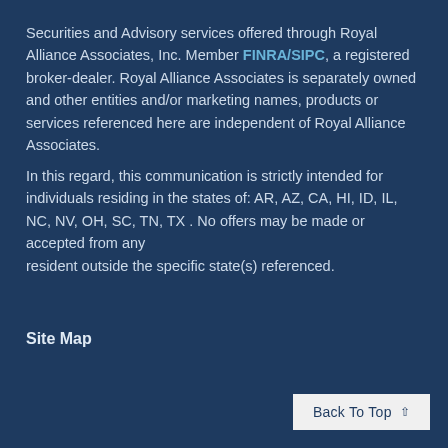Securities and Advisory services offered through Royal Alliance Associates, Inc. Member FINRA/SIPC, a registered broker-dealer. Royal Alliance Associates is separately owned and other entities and/or marketing names, products or services referenced here are independent of Royal Alliance Associates.
In this regard, this communication is strictly intended for individuals residing in the states of: AR, AZ, CA, HI, ID, IL, NC, NV, OH, SC, TN, TX . No offers may be made or accepted from any resident outside the specific state(s) referenced.
Site Map
Back To Top